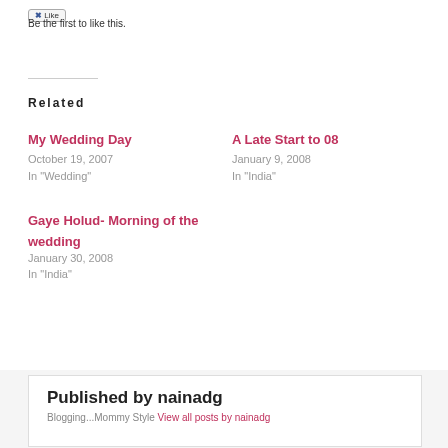Be the first to like this.
Related
My Wedding Day
October 19, 2007
In "Wedding"
A Late Start to 08
January 9, 2008
In "India"
Gaye Holud- Morning of the wedding
January 30, 2008
In "India"
Published by nainadg
Blogging...Mommy Style View all posts by nainadg